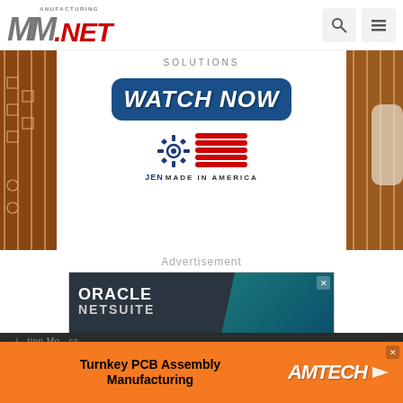Manufacturing.NET
[Figure (photo): Circuit board / PCB manufacturing banner with WATCH NOW button and JEN Made in America logo over a white center panel, flanked by brown circuit board imagery and a gloved hand on the right]
Advertisement
[Figure (screenshot): Oracle NetSuite advertisement banner with teal/dark background]
[Figure (screenshot): AMTECH Turnkey PCB Assembly Manufacturing banner ad in orange with AMTECH brand name and arrow logo]